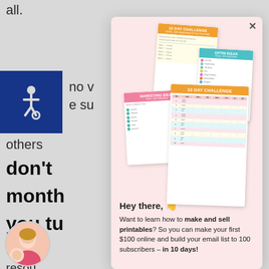alt.
[Figure (illustration): Accessibility wheelchair icon on blue background]
no v
e su
journe
others
don't
month
you tu
[Figure (illustration): Popup modal on pink background showing stacked printables/worksheets: '10 DAY CHALLENGE', 'OPTIN IDEAS', 'MARKETING IDEAS', and another '10 DAY CHALLENGE' with table]
Hey there, 👋
Want to learn how to make and sell printables? So you can make your first $100 online and build your email list to 100 subscribers – in 10 days!
Enjoy,
resou